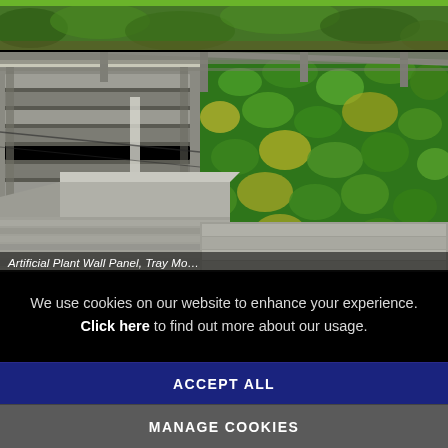[Figure (photo): Top strip photo of garden/outdoor area with greenery, partially cropped]
[Figure (photo): Outdoor patio area with grey composite decking, grey horizontal fence panels, pergola overhead beams, and a lush green artificial plant/living wall covering one wall. Corner bench seating visible.]
We use cookies on our website to enhance your experience. Click here to find out more about our usage.
ACCEPT ALL
MANAGE COOKIES